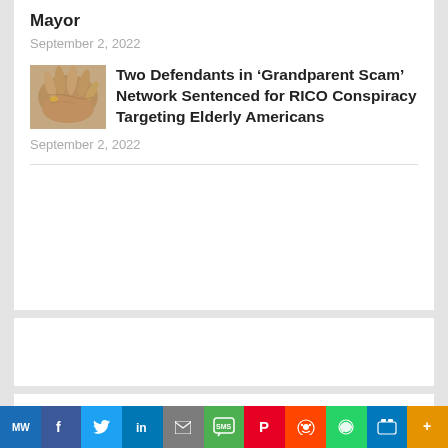Mayor
September 2, 2022
[Figure (photo): Close-up photo of elderly hands, suggesting vulnerability]
Two Defendants in ‘Grandparent Scam’ Network Sentenced for RICO Conspiracy Targeting Elderly Americans
September 2, 2022